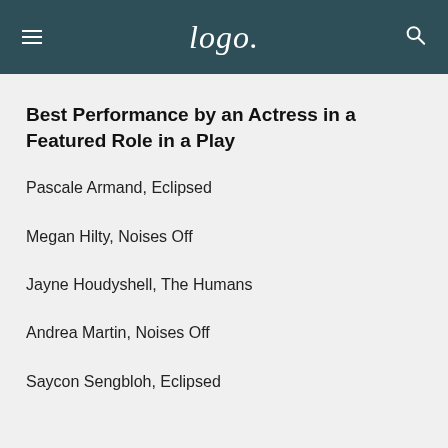Logo.
Best Performance by an Actress in a Featured Role in a Play
Pascale Armand, Eclipsed
Megan Hilty, Noises Off
Jayne Houdyshell, The Humans
Andrea Martin, Noises Off
Saycon Sengbloh, Eclipsed